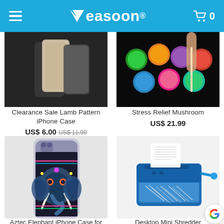Measoon®
[Figure (photo): Clearance Sale Lamb Pattern iPhone Case product image, phone case on dark background]
Clearance Sale Lamb Pattern iPhone Case
US$ 6.00 US$ 11.99
[Figure (photo): Stress Relief Mushroom product image, colorful mushroom caps on black background with hand]
Stress Relief Mushroom
US$ 21.99
[Figure (photo): Aztec Elephant iPhone Case with colorful elephant mandala design on phone]
Aztec Elephant iPhone Case for iPhone 11 /12 Case
[Figure (photo): Desktop Mini Shredder, blue manual hand-crank paper shredder with paper inside]
Desktop Mini Shredder